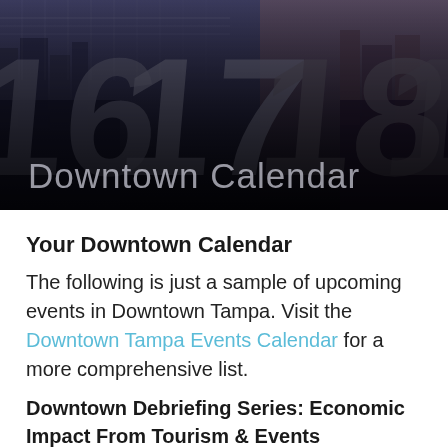[Figure (photo): Hero banner image with dark overlay showing large calendar numbers (16, 17, 18, 19) and a city skyline background, with the text 'Downtown Calendar' overlaid in light gray.]
Your Downtown Calendar
The following is just a sample of upcoming events in Downtown Tampa. Visit the Downtown Tampa Events Calendar for a more comprehensive list.
Downtown Debriefing Series: Economic Impact From Tourism & Events